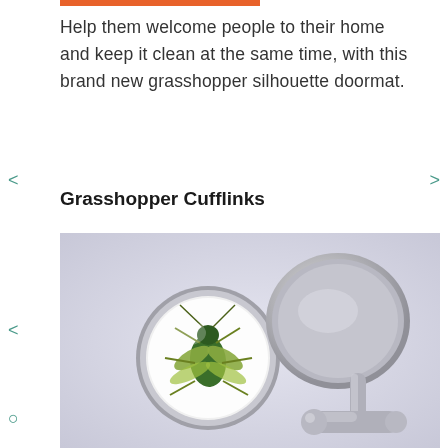Help them welcome people to their home and keep it clean at the same time, with this brand new grasshopper silhouette doormat.
Grasshopper Cufflinks
[Figure (photo): Two silver grasshopper cufflinks on a lavender/grey background. The left cufflink shows a circular glass dome with a green grasshopper insect image inside. The right cufflink shows the silver toggle-bar back mechanism.]